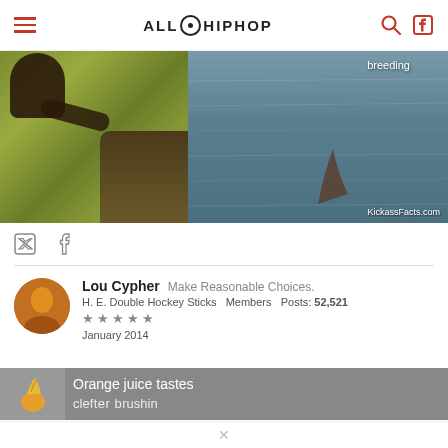AllHipHop
[Figure (photo): Outdoor scene showing a person kneeling near a grassy bank next to water, possibly interacting with an animal. Text overlay says 'breeding' and watermark 'KickassFacts.com']
breeding
KickassFacts.com
[Figure (other): Twitter and Facebook social share icons]
Lou Cypher   Make Reasonable Choices.
H. E. Double Hockey Sticks   Members   Posts: 52,521
★★★★★
January 2014
[Figure (other): Partially visible banner with orange graphic element and text 'Orange juice tastes' followed by cut-off text]